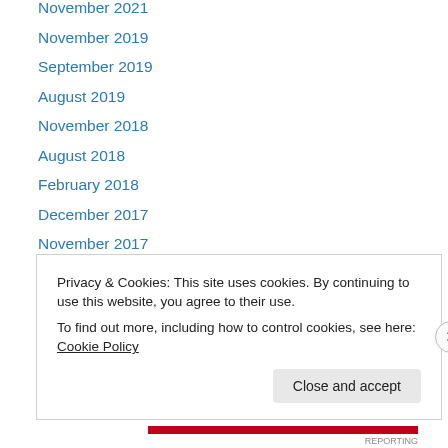November 2021
November 2019
September 2019
August 2019
November 2018
August 2018
February 2018
December 2017
November 2017
September 2017
August 2017
June 2017
May 2017
Privacy & Cookies: This site uses cookies. By continuing to use this website, you agree to their use.
To find out more, including how to control cookies, see here: Cookie Policy